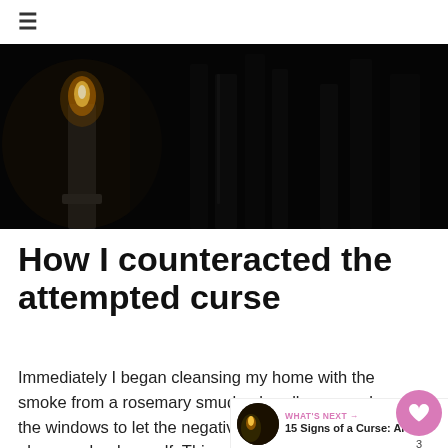≡
[Figure (photo): Dark photograph of several candles in a dim setting; one candle on the left is lit with a visible flame, the others are unlit and appear as dark silhouettes against a black background.]
How I counteracted the attempted curse
Immediately I began cleansing my home with the smoke from a rosemary smudge bundle, opened the windows to let the negative energy escape. I also smudged myself. This was the first step. Then I sealed off and property with protective symbols written in olive oil and laying down red brick